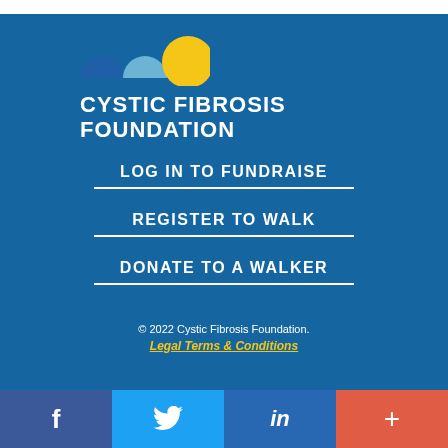[Figure (logo): Cystic Fibrosis Foundation logo with three semicircle/circle shapes (dark blue, light blue, gold) and text CYSTIC FIBROSIS FOUNDATION in white bold uppercase]
LOG IN TO FUNDRAISE
REGISTER TO WALK
DONATE TO A WALKER
© 2022 Cystic Fibrosis Foundation.
Legal Terms & Conditions
[Figure (infographic): Social media bar with four buttons: Facebook (dark purple-blue), Twitter (light blue), LinkedIn (blue), and a plus/more button (orange-red)]